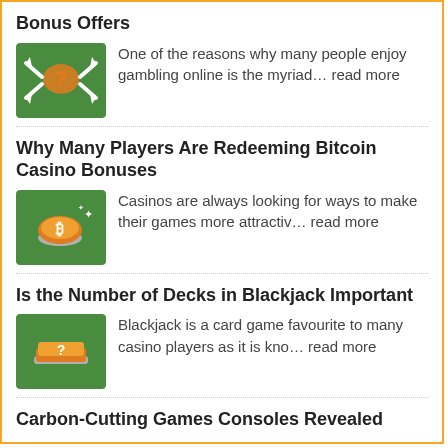Bonus Offers
[Figure (illustration): Green square icon with orange question mark and white arrows pointing outward]
One of the reasons why many people enjoy gambling online is the myriad... read more
Why Many Players Are Redeeming Bitcoin Casino Bonuses
[Figure (illustration): Green square icon with orange Bitcoin coin and sparkles]
Casinos are always looking for ways to make their games more attractiv... read more
Is the Number of Decks in Blackjack Important
[Figure (illustration): Green square icon with orange playing card book and question mark]
Blackjack is a card game favourite to many casino players as it is kno... read more
Carbon-Cutting Games Consoles Revealed